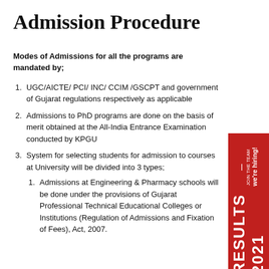Admission Procedure
Modes of Admissions for all the programs are mandated by;
UGC/AICTE/ PCI/ INC/ CCIM /GSCPT and government of Gujarat regulations respectively as applicable
Admissions to PhD programs are done on the basis of merit obtained at the All-India Entrance Examination conducted by KPGU
System for selecting students for admission to courses at University will be divided into 3 types;
Admissions at Engineering & Pharmacy schools will be done under the provisions of Gujarat Professional Technical Educational Colleges or Institutions (Regulation of Admissions and Fixation of Fees), Act, 2007.
[Figure (other): Red banner sidebar with 'JOIN THE TEAM — we're hiring!' text]
[Figure (other): Red banner sidebar with 'RESULTS 2021' text]